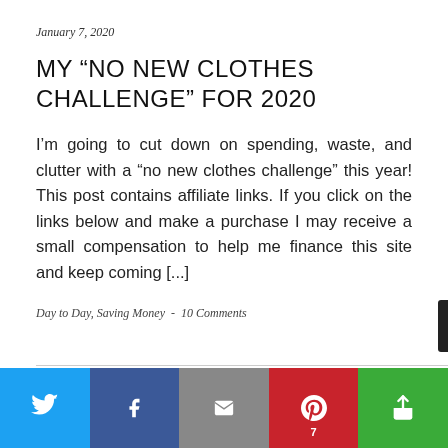January 7, 2020
MY “NO NEW CLOTHES CHALLENGE” FOR 2020
I’m going to cut down on spending, waste, and clutter with a “no new clothes challenge” this year! This post contains affiliate links. If you click on the links below and make a purchase I may receive a small compensation to help me finance this site and keep coming [...]
Day to Day, Saving Money  -  10 Comments